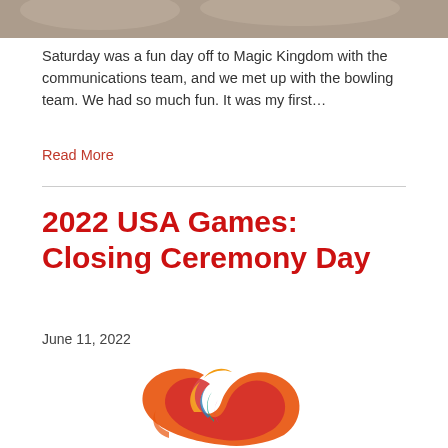[Figure (photo): Partial top crop of a photo showing people, likely at a theme park or event.]
Saturday was a fun day off to Magic Kingdom with the communications team, and we met up with the bowling team. We had so much fun. It was my first…
Read More
2022 USA Games: Closing Ceremony Day
June 11, 2022
[Figure (logo): 2022 USA Games logo featuring a colorful stylized dolphin or bird shape in orange, red, blue, and multicolor.]